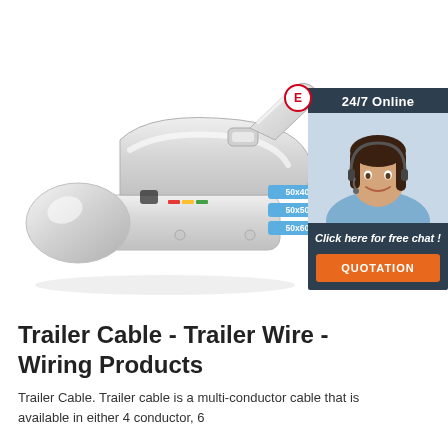[Figure (photo): Chrome trailer ball hitch coupler product photo on white background, with three blue size badge labels: 50x40mm, 50x50mm, 50x60mm]
[Figure (photo): 24/7 Online customer service panel: dark navy background with white text '24/7 Online', photo of smiling female customer service agent wearing headset, italic white text 'Click here for free chat!', orange button with text 'QUOTATION']
Trailer Cable - Trailer Wire - Wiring Products
Trailer Cable. Trailer cable is a multi-conductor cable that is available in either 4 conductor, 6